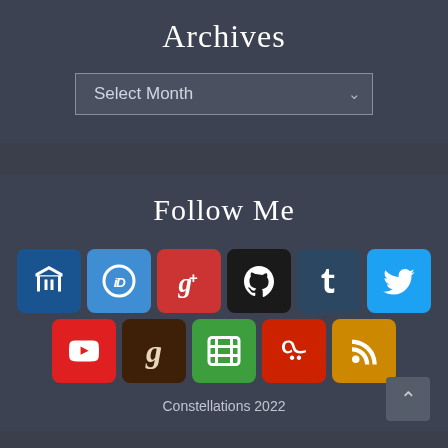Archives
Select Month
Follow Me
[Figure (other): Row of social media icon buttons: Academia, ORCID, Google Scholar, GitHub, Tumblr, Twitter; second row: YouTube, Goodreads, Letterboxd, Last.fm, RSS]
Constellations 2022